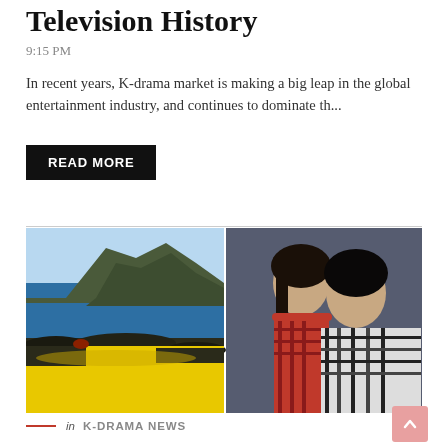Television History
9:15 PM
In recent years, K-drama market is making a big leap in the global entertainment industry, and continues to dominate th...
READ MORE
[Figure (photo): Split image: left side shows a scenic landscape with yellow flowers, sea, and rocky cliffs; right side shows two smiling people wearing plaid shirts posing together.]
in K-DRAMA NEWS